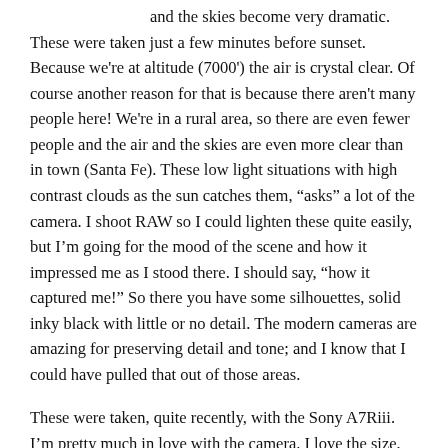and the skies become very dramatic. These were taken just a few minutes before sunset. Because we're at altitude (7000') the air is crystal clear. Of course another reason for that is because there aren't many people here! We're in a rural area, so there are even fewer people and the air and the skies are even more clear than in town (Santa Fe). These low light situations with high contrast clouds as the sun catches them, “asks” a lot of the camera. I shoot RAW so I could lighten these quite easily, but I’m going for the mood of the scene and how it impressed me as I stood there. I should say, “how it captured me!” So there you have some silhouettes, solid inky black with little or no detail. The modern cameras are amazing for preserving detail and tone; and I know that I could have pulled that out of those areas.
These were taken, quite recently, with the Sony A7Riii. I’m pretty much in love with the camera. I love the size, the lightness, the fluidity in using it. It seems to read my mind, and who knows, with AI, maybe it is! I read a review of it by Ken Rockwell in which he referred to the A7Riii as “clairvoyant”. That’s really the perfect